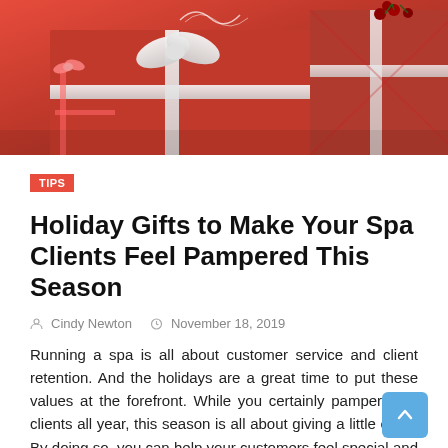[Figure (photo): Red wrapped Christmas gift boxes with ribbon and berries, holiday photo]
TIPS
Holiday Gifts to Make Your Spa Clients Feel Pampered This Season
Cindy Newton   November 18, 2019
Running a spa is all about customer service and client retention. And the holidays are a great time to put these values at the forefront. While you certainly pamper your clients all year, this season is all about giving a little extra. By doing so, you can help your customers feel special and encourage them to stick with you in the new year.  This guide will outline some holiday gift ideas that your spa clients will love. With the right attention to detail, you can stand out from the competition and see your customer list grow.  A Free Treatment Feeling extra generous this holiday season? You might offer your clients a free spa treatment. If you run a laser med spa, consider giving a free